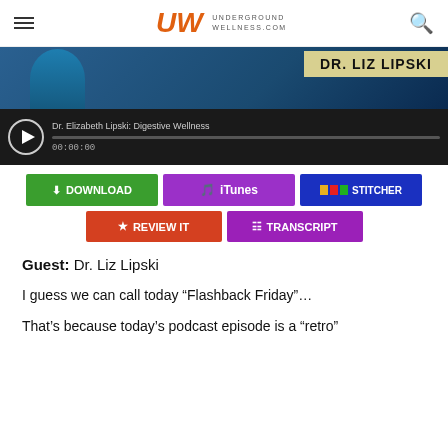Underground Wellness - undergroundwellness.com
[Figure (screenshot): Video thumbnail showing Dr. Liz Lipski with audio player bar showing title 'Dr. Elizabeth Lipski: Digestive Wellness' and timestamp 00:00:00]
[Figure (infographic): Row of colored buttons: green DOWNLOAD, purple iTunes, blue STITCHER; second row: orange REVIEW IT, purple TRANSCRIPT]
Guest: Dr. Liz Lipski
I guess we can call today “Flashback Friday”…
That’s because today’s podcast episode is a “retro”